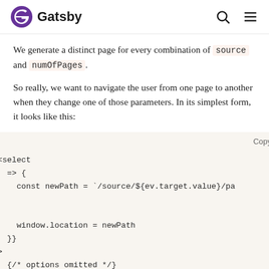Gatsby
We generate a distinct page for every combination of source and numOfPages.
So really, we want to navigate the user from one page to another when they change one of those parameters. In its simplest form, it looks like this:
[Figure (screenshot): Code block showing a JSX <select> element with onChange handler that navigates to a new path using window.location, with options omitted comment]